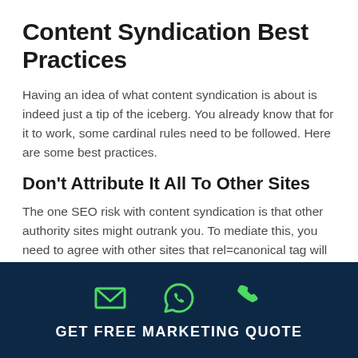Content Syndication Best Practices
Having an idea of what content syndication is about is indeed just a tip of the iceberg. You already know that for it to work, some cardinal rules need to be followed. Here are some best practices.
Don't Attribute It All To Other Sites
The one SEO risk with content syndication is that other authority sites might outrank you. To mediate this, you need to agree with other sites that rel=canonical tag will be used to show the original site where the content is sourced.
[Figure (infographic): Dark navy footer bar with three green icons (email envelope, WhatsApp/speech bubble, telephone handset) and a call-to-action label reading GET FREE MARKETING QUOTE in white uppercase text.]